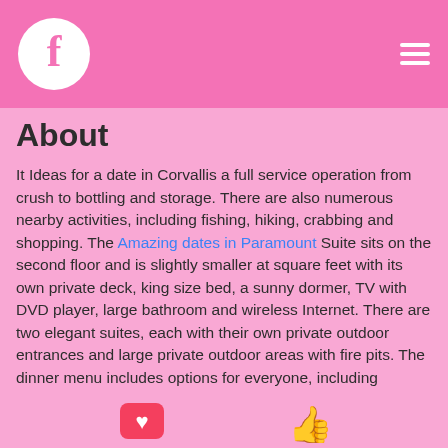Facebook page header with logo and menu
About
It Ideas for a date in Corvallis a full service operation from crush to bottling and storage. There are also numerous nearby activities, including fishing, hiking, crabbing and shopping. The Amazing dates in Paramount Suite sits on the second floor and is slightly smaller at square feet with its own private deck, king size bed, a sunny dormer, TV with DVD player, large bathroom and wireless Internet. There are two elegant suites, each with their own private outdoor entrances and large private outdoor areas with fire pits. The dinner menu includes options for everyone, including appetizers, sal, pasta, pork, steak, chicken, lasagna and vegetarian options.
[Figure (illustration): Heart/like icons at the bottom of the page]